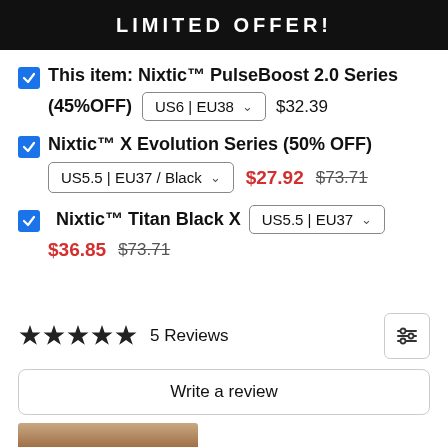LIMITED OFFER!
This item: Nixtic™ PulseBoost 2.0 Series (45%OFF) US6 | EU38 $32.39
Nixtic™ X Evolution Series (50% OFF) US5.5 | EU37 / Black $27.92 $73.71
Nixtic™ Titan Black X US5.5 | EU37 $36.85 $73.71
★★★★★ 5 Reviews
Write a review